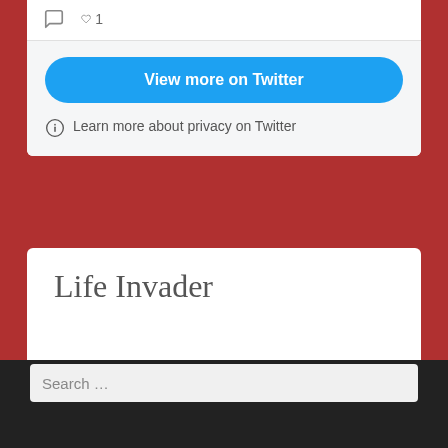[Figure (screenshot): Twitter widget showing comment icon, heart icon with count of 1, a blue 'View more on Twitter' button, and a privacy info line reading 'Learn more about privacy on Twitter']
Life Invader
Search …